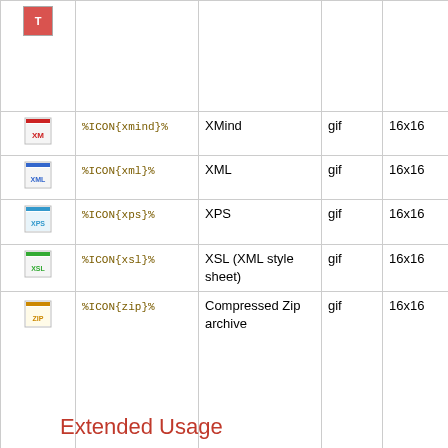| Icon | Macro | Description | Format | Size | Extensions |
| --- | --- | --- | --- | --- | --- |
| [icon] |  |  |  |  | xlt, xlw |
| [xmind icon] | %ICON{xmind}% | XMind | gif | 16x16 |  |
| [xml icon] | %ICON{xml}% | XML | gif | 16x16 |  |
| [xps icon] | %ICON{xps}% | XPS | gif | 16x16 | oxps |
| [xsl icon] | %ICON{xsl}% | XSL (XML style sheet) | gif | 16x16 |  |
| [zip icon] | %ICON{zip}% | Compressed Zip archive | gif | 16x16 | arc, arj, b64, bhx, cab, hqx, lzh, mim, tar, taz, tgz, tz, z |
Extended Usage